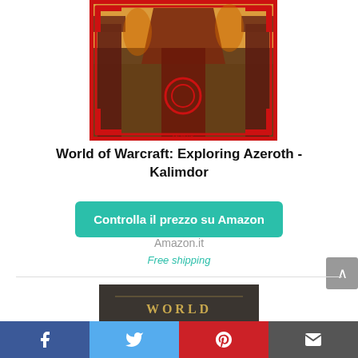[Figure (photo): Book cover of 'World of Warcraft: Exploring Azeroth - Kalimdor', featuring a red-bordered fantasy artwork with a dramatic cityscape and mystical skyline.]
World of Warcraft: Exploring Azeroth - Kalimdor
Controlla il prezzo su Amazon
Amazon.it
Free shipping
[Figure (photo): Partial view of another book cover showing the word 'WORLD' in golden letters on a dark background.]
[Figure (other): Social sharing bar with Facebook, Twitter, Pinterest, and email icons.]